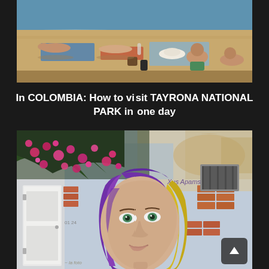[Figure (photo): Beach scene with people sunbathing on sandy beach, ocean waves visible in background, one person wearing a white hat visible in foreground]
In COLOMBIA: How to visit TAYRONA NATIONAL PARK in one day
[Figure (photo): Street art mural on a weathered building wall showing a woman with purple and yellow hair, pink bougainvillea flowers visible at top left, white wooden door on left side, brick patches on wall, graffiti text visible]